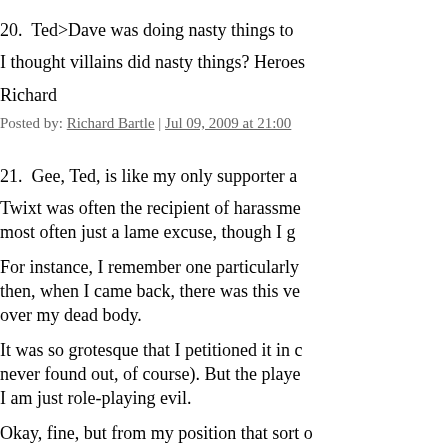20.  Ted>Dave was doing nasty things to
I thought villains did nasty things? Heroes
Richard
Posted by: Richard Bartle | Jul 09, 2009 at 21:00
21.  Gee, Ted, is like my only supporter a
Twixt was often the recipient of harassme most often just a lame excuse, though I g
For instance, I remember one particularly then, when I came back, there was this ve over my dead body.
It was so grotesque that I petitioned it in c never found out, of course). But the playe I am just role-playing evil.
Okay, fine, but from my position that sort o to achieve game goals. It's certainly not th ever even consider doing.
My position -- and here's where I diverge and role-play doesn't normally have a ver concerning role-play are very clearly laid rules, with all their problems, to encroach